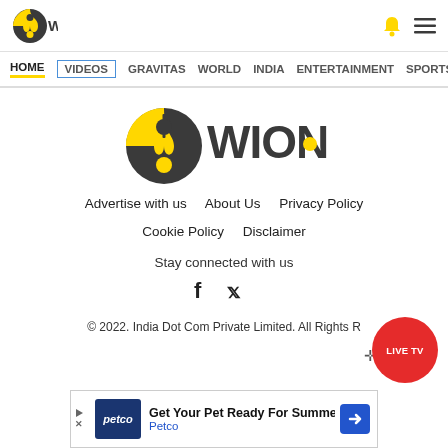[Figure (logo): WION logo - dark circular icon with yellow yin-yang style design, followed by WION text in dark gray]
HOME  VIDEOS  GRAVITAS  WORLD  INDIA  ENTERTAINMENT  SPORTS
[Figure (logo): Large centered WION logo with circular dark/yellow icon and WION wordmark]
Advertise with us    About Us    Privacy Policy
Cookie Policy    Disclaimer
Stay connected with us
[Figure (illustration): Facebook and Twitter social media icons]
© 2022. India Dot Com Private Limited. All Rights R
[Figure (screenshot): Petco advertisement: Get Your Pet Ready For Summe - Petco]